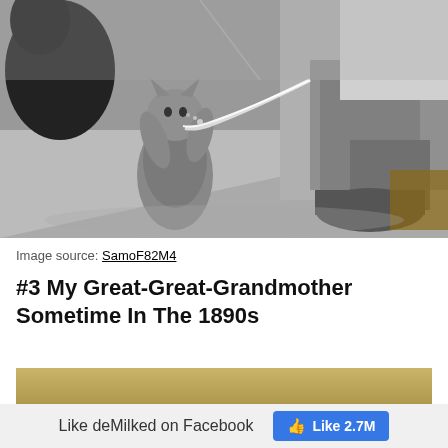[Figure (photo): Black and white vintage photograph of a cat standing on its hind legs reaching up toward a stream of milk being squirted by a person sitting on a bench or stool, with another cat visible in the background.]
Image source: SamoF82M4
#3 My Great-Great-Grandmother Sometime In The 1890s
[Figure (other): Gold/tan colored banner bar]
Like deMilked on Facebook  Like 2.7M